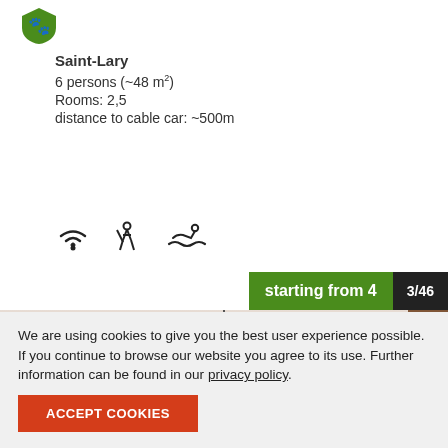[Figure (logo): Green shield logo with a paw print icon]
Saint-Lary
6 persons (~48 m²)
Rooms: 2,5
distance to cable car: ~500m
[Figure (infographic): Three icons: WiFi symbol, hiking person, swimming person]
starting from 4
3/46
[Figure (photo): Interior photo showing a chandelier with red lampshades and a wooden beam ceiling]
We are using cookies to give you the best user experience possible. If you continue to browse our website you agree to its use. Further information can be found in our privacy policy.
ACCEPT COOKIES